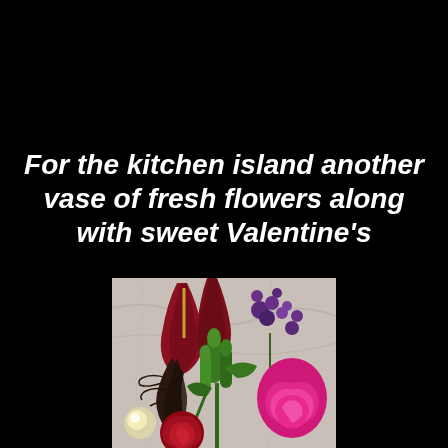For the kitchen island another vase of fresh flowers along with sweet Valentine's
[Figure (photo): A floral arrangement featuring red calla lilies, green lily buds, purple statice, dark feathery foliage, a red rose, and hot pink carnations against a marble background.]